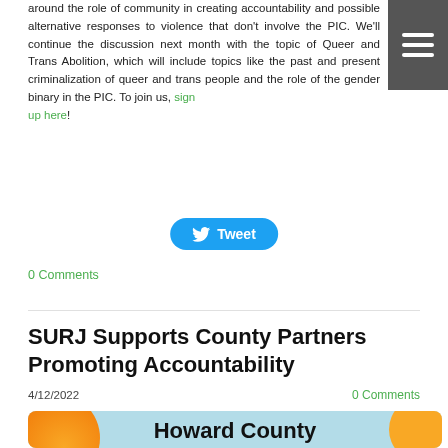around the role of community in creating accountability and possible alternative responses to violence that don't involve the PIC. We'll continue the discussion next month with the topic of Queer and Trans Abolition, which will include topics like the past and present criminalization of queer and trans people and the role of the gender binary in the PIC. To join us, sign up here!
[Figure (other): Twitter Tweet button in blue with bird icon]
0 Comments
SURJ Supports County Partners Promoting Accountability
4/12/2022
0 Comments
[Figure (illustration): Graphic with light blue background, orange blob top-left, yellow blob bottom-right, text reading SURJ Baltimore and Howard County]